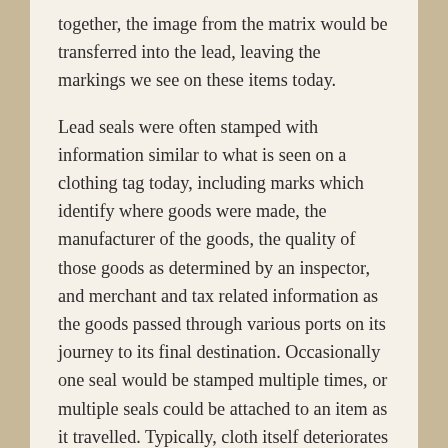together, the image from the matrix would be transferred into the lead, leaving the markings we see on these items today.
Lead seals were often stamped with information similar to what is seen on a clothing tag today, including marks which identify where goods were made, the manufacturer of the goods, the quality of those goods as determined by an inspector, and merchant and tax related information as the goods passed through various ports on its journey to its final destination. Occasionally one seal would be stamped multiple times, or multiple seals could be attached to an item as it travelled. Typically, cloth itself deteriorates and is therefore rarely found on archaeological sites. So these seals are significant finds because they can tell archaeologists not only what